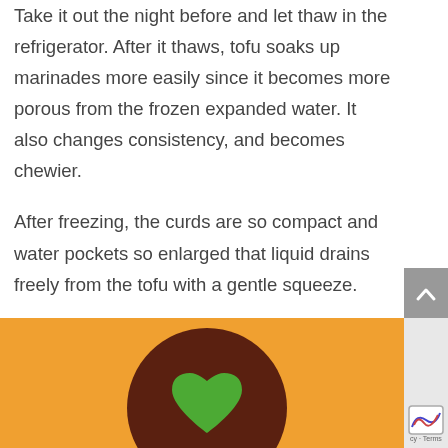Take it out the night before and let thaw in the refrigerator. After it thaws, tofu soaks up marinades more easily since it becomes more porous from the frozen expanded water. It also changes consistency, and becomes chewier.
After freezing, the curds are so compact and water pockets so enlarged that liquid drains freely from the tofu with a gentle squeeze.
[Figure (illustration): Orange background with a large dark brown circle containing a green heart shape in the center.]